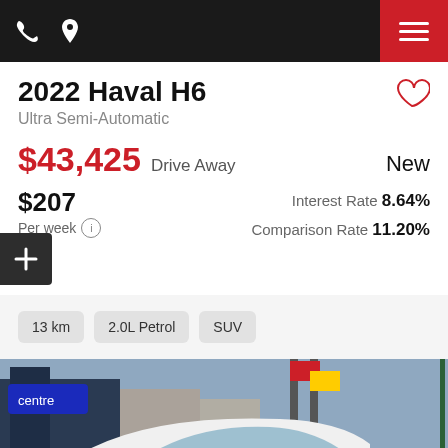Navigation bar with phone icon, pin icon, and hamburger menu
2022 Haval H6
Ultra Semi-Automatic
$43,425 Drive Away   New
$207 Per week   Interest Rate 8.64%   Comparison Rate 11.20%
13 km
2.0L Petrol
SUV
[Figure (photo): White Haval H6 SUV at a car dealership, with flags and signage visible in the background]